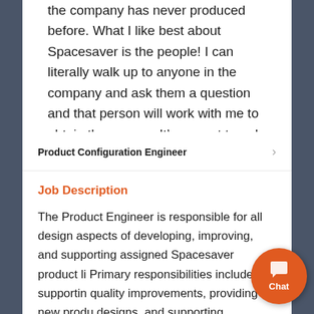the company has never produced before. What I like best about Spacesaver is the people! I can literally walk up to anyone in the company and ask them a question and that person will work with me to obtain the answer. It's a great team!
Product Configuration Engineer
Job Description
The Product Engineer is responsible for all design aspects of developing, improving, and supporting assigned Spacesaver product li… Primary responsibilities include supportin… quality improvements, providing new produ… designs, and supporting engineering aspects of